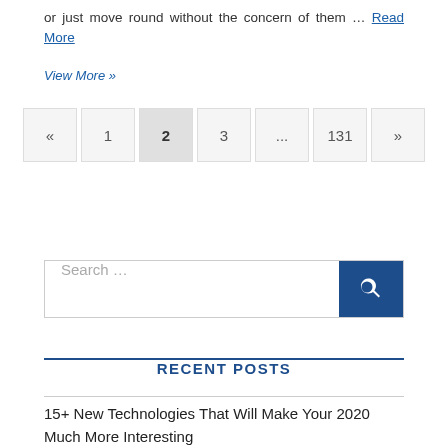or just move round without the concern of them … Read More
View More »
« 1 2 3 ... 131 »
[Figure (other): Search bar with text input and blue search button]
RECENT POSTS
15+ New Technologies That Will Make Your 2020 Much More Interesting